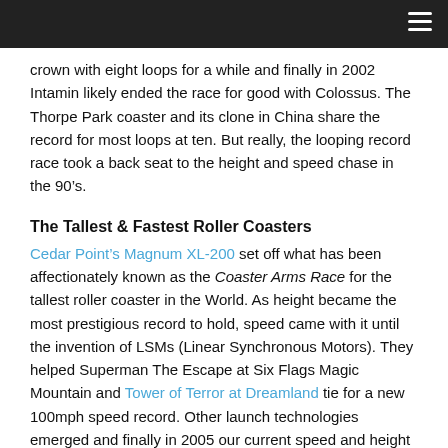[navigation bar with hamburger menu]
crown with eight loops for a while and finally in 2002 Intamin likely ended the race for good with Colossus. The Thorpe Park coaster and its clone in China share the record for most loops at ten. But really, the looping record race took a back seat to the height and speed chase in the 90’s.
The Tallest & Fastest Roller Coasters
Cedar Point’s Magnum XL-200 set off what has been affectionately known as the Coaster Arms Race for the tallest roller coaster in the World. As height became the most prestigious record to hold, speed came with it until the invention of LSMs (Linear Synchronous Motors). They helped Superman The Escape at Six Flags Magic Mountain and Tower of Terror at Dreamland tie for a new 100mph speed record. Other launch technologies emerged and finally in 2005 our current speed and height record champ, Six Flags Great Adventure’s Kingda Ka, set the bar at 128 mph and 456’ for speed and height respectively. Ring Racer opened briefly this year and will re-open next year likely breaking Kingda Ka’s record only to be surpassed by the F1...